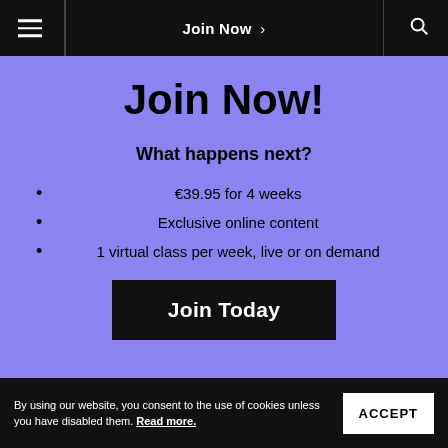Join Now >
Join Now!
What happens next?
€39.95 for 4 weeks
Exclusive online content
1 virtual class per week, live or on demand
Join Today
By using our website, you consent to the use of cookies unless you have disabled them. Read more.